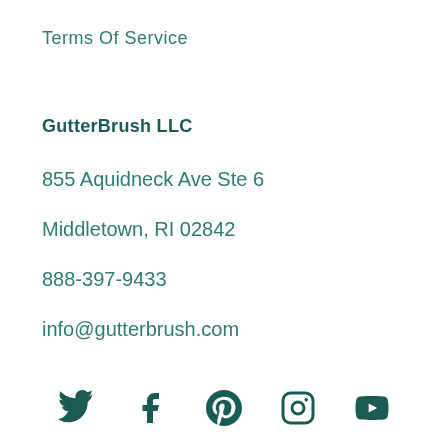Terms Of Service
GutterBrush LLC
855 Aquidneck Ave Ste 6
Middletown, RI 02842
888-397-9433
info@gutterbrush.com
[Figure (infographic): Social media icons: Twitter, Facebook, Pinterest, Instagram, YouTube]